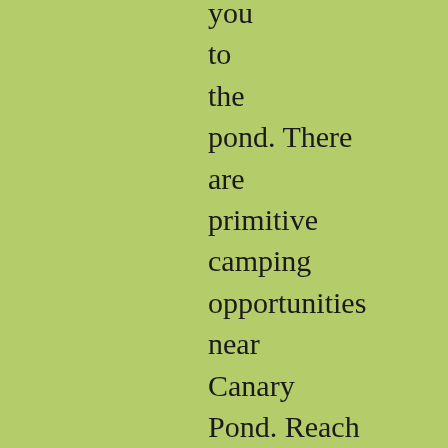you to the pond. There are primitive camping opportunities near Canary Pond. Reach a rather large beaver pond at 15.2 miles. The NPT